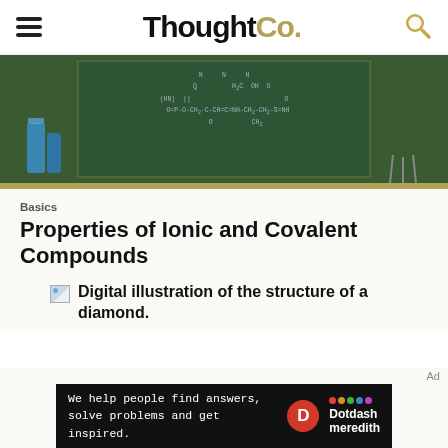ThoughtCo.
[Figure (photo): Chalkboard with chemical formulas and molecular structures. Blue beakers visible in foreground.]
Basics
Properties of Ionic and Covalent Compounds
[Figure (illustration): Digital illustration of the structure of a diamond.]
Digital illustration of the structure of a diamond.
Ad — We help people find answers, solve problems and get inspired. Dotdash meredith